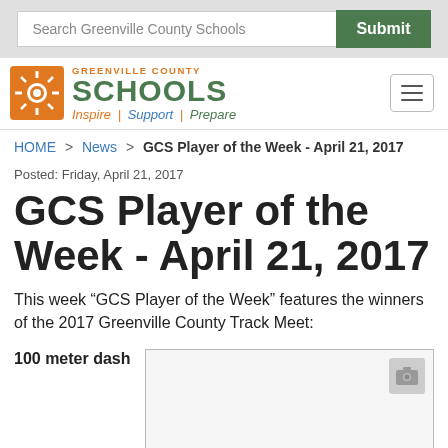Search Greenville County Schools | Submit
[Figure (logo): Greenville County Schools logo with sunburst icon, tagline: Inspire | Support | Prepare]
HOME > News > GCS Player of the Week - April 21, 2017
Posted: Friday, April 21, 2017
GCS Player of the Week - April 21, 2017
This week “GCS Player of the Week” features the winners of the 2017 Greenville County Track Meet:
100 meter dash
[Figure (photo): Image placeholder for 100 meter dash winner photo]